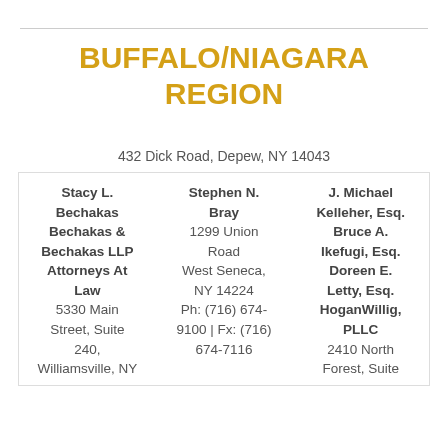BUFFALO/NIAGARA REGION
432 Dick Road, Depew, NY 14043
| Stacy L. Bechakas
Bechakas & Bechakas LLP Attorneys At Law
5330 Main Street, Suite 240,
Williamsville, NY | Stephen N. Bray
1299 Union Road
West Seneca, NY 14224
Ph: (716) 674-9100 | Fx: (716) 674-7116 | J. Michael Kelleher, Esq.
Bruce A. Ikefugi, Esq.
Doreen E. Letty, Esq.
HoganWillig, PLLC
2410 North Forest, Suite |